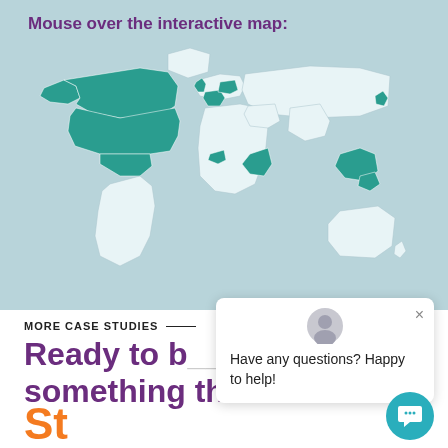Mouse over the interactive map:
[Figure (map): World map with teal-highlighted countries (North America, UK, parts of Europe, East Africa, Southeast Asia/Indonesia, and Japan) on a light blue background.]
MORE CASE STUDIES —
Ready to build something that lasts?
[Figure (other): Chat popup widget with avatar icon, close button, text 'Have any questions? Happy to help!' and a teal circular chat bubble button.]
St...